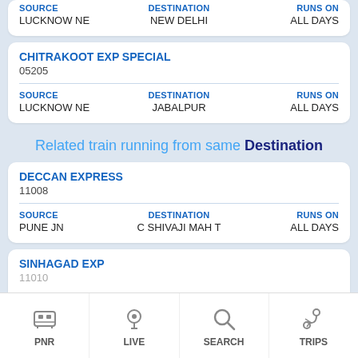| SOURCE | DESTINATION | RUNS ON |
| --- | --- | --- |
| LUCKNOW NE | NEW DELHI | ALL DAYS |
|  |  |
| --- | --- |
| CHITRAKOOT EXP SPECIAL | 05205 |
| SOURCE | DESTINATION | RUNS ON |
| --- | --- | --- |
| LUCKNOW NE | JABALPUR | ALL DAYS |
Related train running from same Destination
|  |  |
| --- | --- |
| DECCAN EXPRESS | 11008 |
| SOURCE | DESTINATION | RUNS ON |
| --- | --- | --- |
| PUNE JN | C SHIVAJI MAH T | ALL DAYS |
|  |  |
| --- | --- |
| SINHAGAD EXP | 11010 |
PNR
LIVE
SEARCH
TRIPS